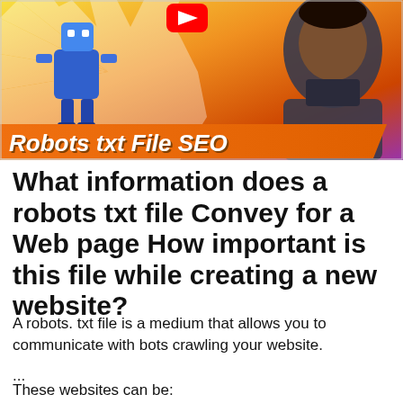[Figure (illustration): YouTube thumbnail image showing an animated blue robot character on left, a man in dark polo shirt on right, orange ray burst background, red YouTube play button logo, with orange banner text 'Robots txt File SEO' at the bottom of the image.]
What information does a robots txt file Convey for a Web page How important is this file while creating a new website?
A robots. txt file is a medium that allows you to communicate with bots crawling your website.
...
These websites can be: